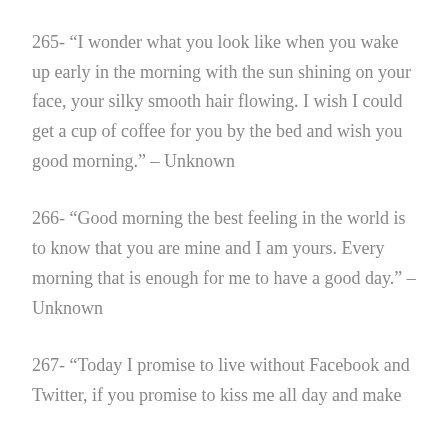265- “I wonder what you look like when you wake up early in the morning with the sun shining on your face, your silky smooth hair flowing. I wish I could get a cup of coffee for you by the bed and wish you good morning.” – Unknown
266- “Good morning the best feeling in the world is to know that you are mine and I am yours. Every morning that is enough for me to have a good day.” – Unknown
267- “Today I promise to live without Facebook and Twitter, if you promise to kiss me all day and make